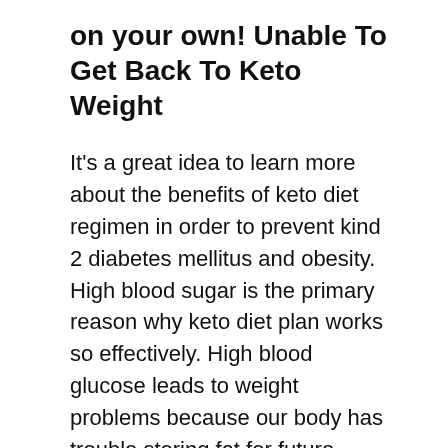on your own! Unable To Get Back To Keto Weight
It’s a great idea to learn more about the benefits of keto diet regimen in order to prevent kind 2 diabetes mellitus and obesity. High blood sugar is the primary reason why keto diet plan works so effectively. High blood glucose leads to weight problems because our body has trouble storing fat for future usage. Our body has a tendency to convert fat into sugar, which triggers a boost in insulin degrees. Therefore, our body starts to look for other sources of power, resulting in feelings of hunger and also overindulging.
So, if you are serious about reducing weight and preventing weight problems, it is best to